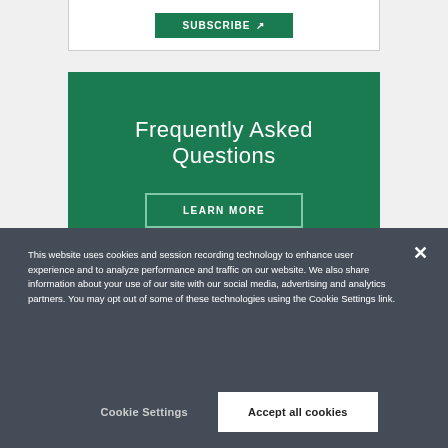[Figure (screenshot): Partial view of a subscribe button card at the top of the page]
Frequently Asked Questions
LEARN MORE
This website uses cookies and session recording technology to enhance user experience and to analyze performance and traffic on our website. We also share information about your use of our site with our social media, advertising and analytics partners. You may opt out of some of these technologies using the Cookie Settings link.
Cookie Settings
Accept all cookies